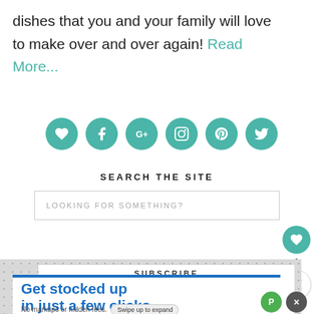dishes that you and your family will love to make over and over again! Read More...
[Figure (infographic): Row of 6 teal circular social media icons: heart/favorites, Facebook, Google+, Instagram, Pinterest, Twitter]
SEARCH THE SITE
[Figure (screenshot): Search input box with placeholder text LOOKING FOR SOMETHING?]
[Figure (infographic): Floating teal heart button on right side with count 1 and share icon below]
SUBSCRIBE
Sign up via email to my blog!
[Figure (infographic): Advertisement overlay: Get stocked up in just a few clicks. No markups or hidden fees. Swipe up to expand button.]